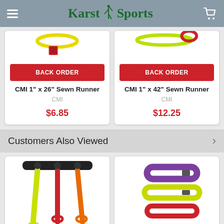Karst Sports
[Figure (screenshot): Product card: CMI 1" x 26" Sewn Runner with BACK ORDER button and price $6.85]
[Figure (screenshot): Product card: CMI 1" x 42" Sewn Runner with BACK ORDER button and price $12.25]
Customers Also Viewed
[Figure (photo): Product image showing colorful sewn runners/slings in yellow, red and orange hanging from black hardware]
[Figure (photo): Product image showing flat loop slings/runners in purple, yellow and red]